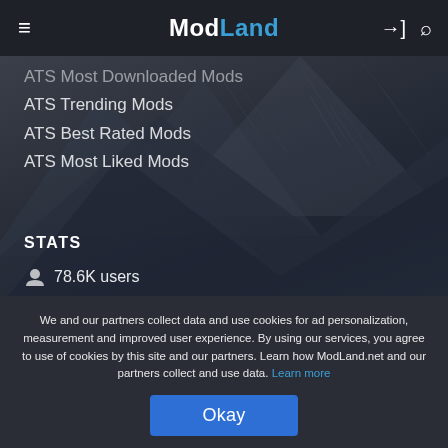ModLand
ATS Most Downloaded Mods
ATS Trending Mods
ATS Best Rated Mods
ATS Most Liked Mods
STATS
78.6K users
111.9K mods
135.8M downloads
104.1K downloads today
We and our partners collect data and use cookies for ad personalization, measurement and improved user experience. By using our services, you agree to use of cookies by this site and our partners. Learn how ModLand.net and our partners collect and use data. Learn more
Okay